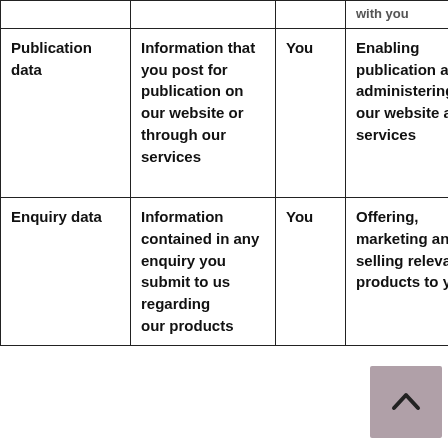| Type | Description | Source | Purpose | Legal basis |
| --- | --- | --- | --- | --- |
| Publication data | Information that you post for publication on our website or through our services | You | Enabling publication and administering our website and services | Le... in... na... pr... ac... of... ar... |
| Enquiry data | Information contained in any enquiry you submit to us regarding our products... | You | Offering, marketing and selling relevant products to you | Co... |